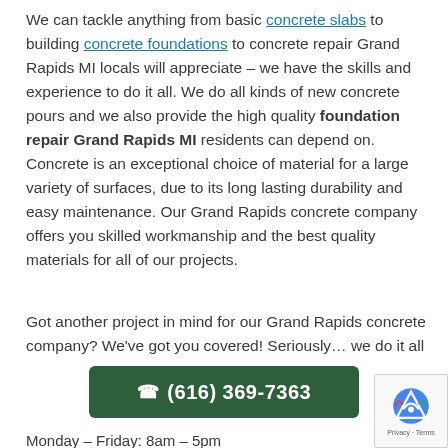We can tackle anything from basic concrete slabs to building concrete foundations to concrete repair Grand Rapids MI locals will appreciate – we have the skills and experience to do it all. We do all kinds of new concrete pours and we also provide the high quality foundation repair Grand Rapids MI residents can depend on. Concrete is an exceptional choice of material for a large variety of surfaces, due to its long lasting durability and easy maintenance. Our Grand Rapids concrete company offers you skilled workmanship and the best quality materials for all of our projects.
Got another project in mind for our Grand Rapids concrete company? We've got you covered! Seriously… we do it all
[Figure (other): Green button with phone icon and phone number (616) 369-7363]
Monday – Friday: 8am – 5pm
[Figure (other): reCAPTCHA badge with logo and Privacy - Terms links]